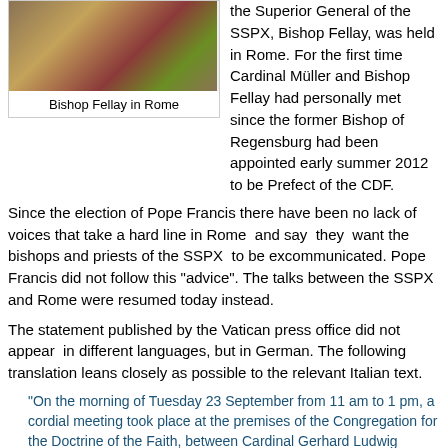[Figure (photo): Bishop Fellay wearing ornate red and gold vestments in Rome]
Bishop Fellay in Rome
the Superior General of the SSPX, Bishop Fellay, was held in Rome. For the first time Cardinal Müller and Bishop Fellay had personally met since the former Bishop of Regensburg had been appointed early summer 2012 to be Prefect of the CDF.
Since the election of Pope Francis there have been no lack of voices that take a hard line in Rome  and say  they  want the bishops and priests of the SSPX  to be excommunicated. Pope Francis did not follow this "advice". The talks between the SSPX and Rome were resumed today instead.
The statement published by the Vatican press office did not appear  in different languages, but in German. The following translation leans closely as possible to the relevant Italian text.
"On the morning of Tuesday 23 September from 11 am to 1 pm, a cordial meeting took place at the premises of the Congregation for the Doctrine of the Faith, between Cardinal Gerhard Ludwig Muller, prefect of the Congregation for the Doctrine of the Faith and Bishop Bernard Fellay, superior general of the Society of St. Pius X. The meeting was also attended by Archbishops Luis Francisco Ladaria Ferrer, S.I., secretary of the same Congregation, Joseph Augustine Di Noia, O.P., adjunct secretary and Guido Pozzo, secretary of the Pontifical Commission Ecclesia Dei, along with two assistants from the Society of St. Pius X, Rev. Niklaus Pfluger and Rev. Alain-Marc Nély.
During the meeting, various problems of a doctrinal and canonical nature were examined, and it was decided to proceed gradually and over a reasonable period of